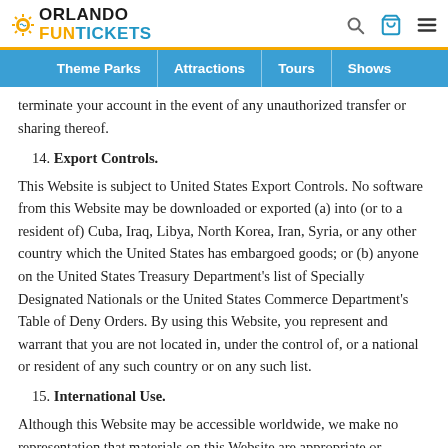ORLANDO FUN TICKETS — Theme Parks | Attractions | Tours | Shows
terminate your account in the event of any unauthorized transfer or sharing thereof.
14. Export Controls.
This Website is subject to United States Export Controls. No software from this Website may be downloaded or exported (a) into (or to a resident of) Cuba, Iraq, Libya, North Korea, Iran, Syria, or any other country which the United States has embargoed goods; or (b) anyone on the United States Treasury Department's list of Specially Designated Nationals or the United States Commerce Department's Table of Deny Orders. By using this Website, you represent and warrant that you are not located in, under the control of, or a national or resident of any such country or on any such list.
15. International Use.
Although this Website may be accessible worldwide, we make no representation that materials on this Website are appropriate or available for use in locations outside the United States, and